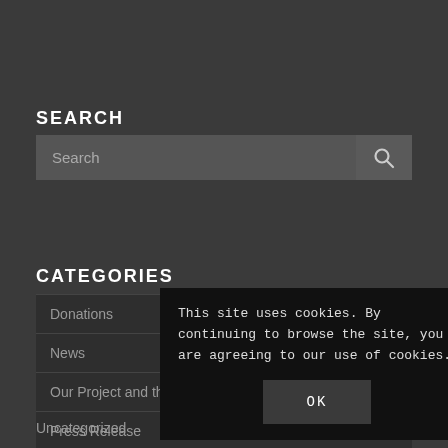SEARCH
[Figure (screenshot): Search input box with placeholder text 'Search' and a search button with magnifying glass icon]
CATEGORIES
Donations
News
Our Project and the Community
Press Release
Project Partners
This site uses cookies. By continuing to browse the site, you are agreeing to our use of cookies.
Uncategorized